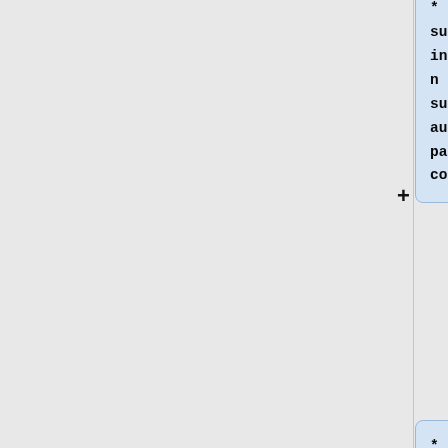* Document summary information (title, subject, author, page count).
* File hashes (CRC32, MD5, SHA1, SHA256, SHA512).
* Email properties (date sent, subject, sender) for EML